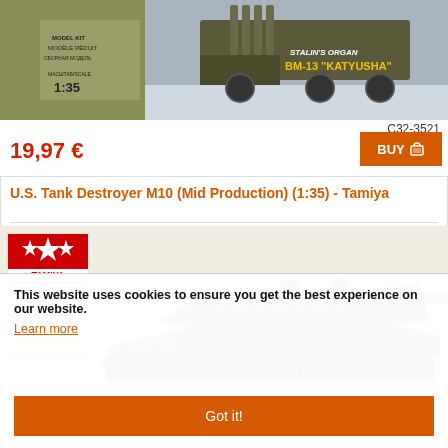[Figure (photo): Product image of Katyusha BM-13 Stalin's Organ model kit box art showing military truck with rocket launcher]
C32-3521
19,97 €
BUY
U.S. Tank Destroyer M10 (Mid Production) (1:35) - Tamiya
[Figure (photo): Product image of U.S. Tank Destroyer M10 scale model with Tamiya logo, showing detailed military tank destroyer with crew figures]
This website uses cookies to ensure you get the best experience on our website.
Learn more
Got it!